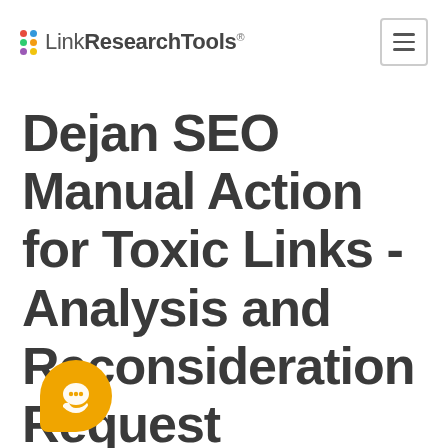LinkResearchTools®
Dejan SEO Manual Action for Toxic Links - Analysis and Reconsideration Request